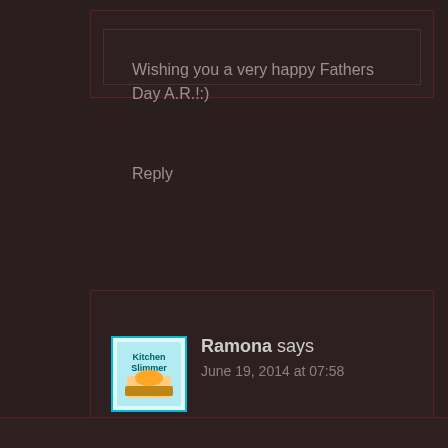Wishing you a very happy Fathers Day A.R.!:)
Reply
Ramona says
June 19, 2014 at 07:58